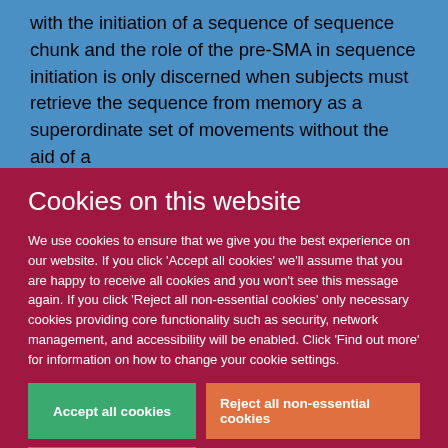with the initiation of a sequence of sequence chunk and the role of the pre-SMA in sequence initiation is only discerned when subjects must retrieve the sequence from memory as a superordinate set of movements without the aid of a
Cookies on this website
We use cookies to ensure that we give you the best experience on our website. If you click 'Accept all cookies' we'll assume that you are happy to receive all cookies and you won't see this message again. If you click 'Reject all non-essential cookies' only necessary cookies providing core functionality such as security, network management, and accessibility will be enabled. Click 'Find out more' for information on how to change your cookie settings.
Accept all cookies
Reject all non-essential cookies
Find out more